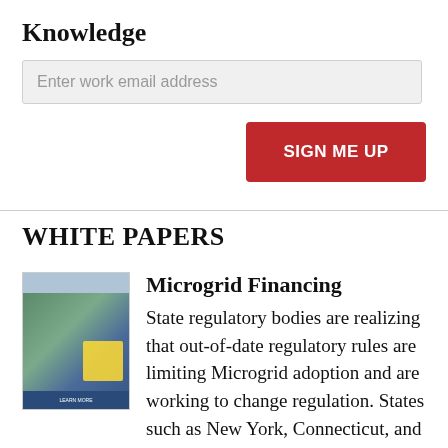Knowledge
Enter work email address
SIGN ME UP
WHITE PAPERS
[Figure (illustration): Thumbnail image of a white paper cover showing a cityscape with solar panels and a person holding a tablet, with a document overlay.]
Microgrid Financing
State regulatory bodies are realizing that out-of-date regulatory rules are limiting Microgrid adoption and are working to change regulation. States such as New York, Connecticut, and Minnesota have allocated funding and started